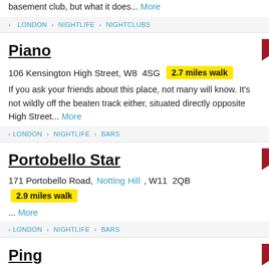basement club, but what it does... More
> LONDON > NIGHTLIFE > NIGHTCLUBS
Piano
106 Kensington High Street, W8 4SG 2.7 miles walk
If you ask your friends about this place, not many will know. It's not wildly off the beaten track either, situated directly opposite High Street... More
> LONDON > NIGHTLIFE > BARS
Portobello Star
171 Portobello Road, Notting Hill, W11 2QB 2.9 miles walk
... More
> LONDON > NIGHTLIFE > BARS
Ping